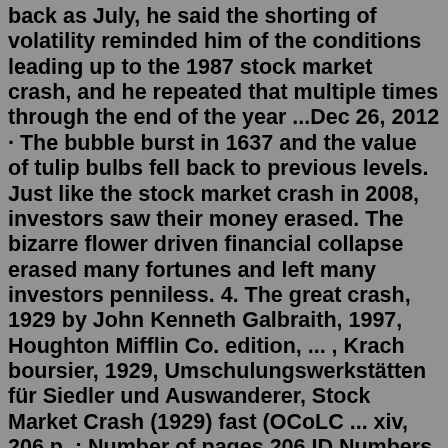back as July, he said the shorting of volatility reminded him of the conditions leading up to the 1987 stock market crash, and he repeated that multiple times through the end of the year ...Dec 26, 2012 · The bubble burst in 1637 and the value of tulip bulbs fell back to previous levels. Just like the stock market crash in 2008, investors saw their money erased. The bizarre flower driven financial collapse erased many fortunes and left many investors penniless. 4. The great crash, 1929 by John Kenneth Galbraith, 1997, Houghton Mifflin Co. edition, ... , Krach boursier, 1929, Umschulungswerkstätten für Siedler und Auswanderer, Stock Market Crash (1929) fast (OCoLC ... xiv, 206 p. : Number of pages 206 ID Numbers Open Library OL675845M Internet ArchiveDec 26, 2012 · The bubble burst in 1637 and the value of tulip bulbs fell back to previous levels. Just like the stock market crash in 2008, investors saw their money erased. The bizarre flower driven financial collapse erased many fortunes and left many investors penniless. 4. Investors in the XIV Notes have